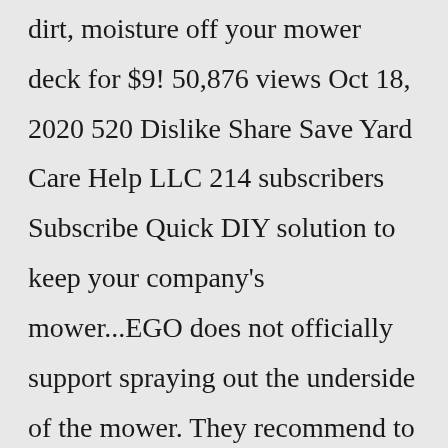dirt, moisture off your mower deck for $9! 50,876 views Oct 18, 2020 520 Dislike Share Save Yard Care Help LLC 214 subscribers Subscribe Quick DIY solution to keep your company's mower...EGO does not officially support spraying out the underside of the mower. They recommend to use a curved plastic scraper. > EGO FAQ section The outside of the mower holds up in the weather due (minus the fact of fading,